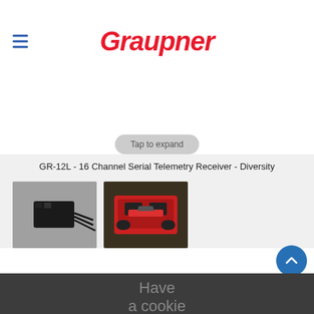[Figure (logo): Graupner brand logo in italic red bold font]
Tap to expand
GR-12L - 16 Channel Serial Telemetry Receiver - Diversity
[Figure (photo): Small black electronic receiver module on grey background]
[Figure (photo): Red RC car chassis with electronics installed]
Have
a cookie
Accept the use of cookies on this site more information
I Accept